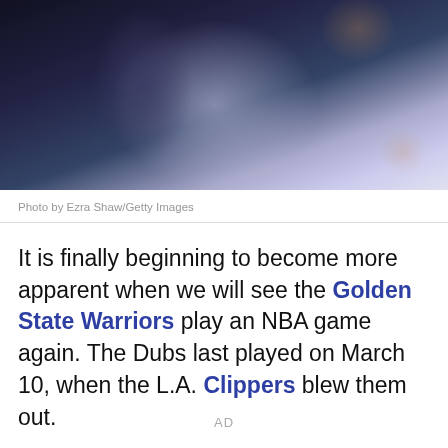[Figure (photo): Photo of basketball players, dark background with figures in suits/jerseys]
Photo by Ezra Shaw/Getty Images
It is finally beginning to become more apparent when we will see the Golden State Warriors play an NBA game again. The Dubs last played on March 10, when the L.A. Clippers blew them out.
AD